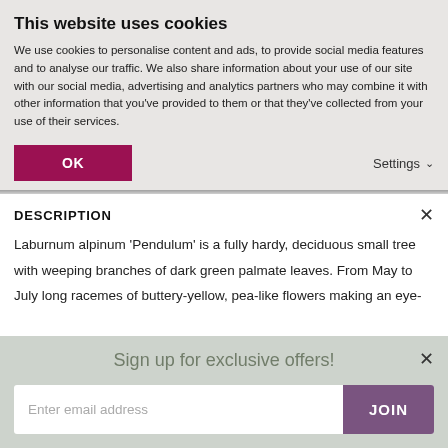This website uses cookies
We use cookies to personalise content and ads, to provide social media features and to analyse our traffic. We also share information about your use of our site with our social media, advertising and analytics partners who may combine it with other information that you've provided to them or that they've collected from your use of their services.
OK
Settings
DESCRIPTION
Laburnum alpinum 'Pendulum' is a fully hardy, deciduous small tree with weeping branches of dark green palmate leaves. From May to July long racemes of buttery-yellow, pea-like flowers making an eye-
Sign up for exclusive offers!
Enter email address
JOIN